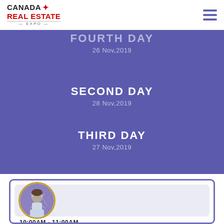[Figure (logo): Canada Real Estate Expo logo with maple leaf]
FOURTH DAY
26 Nov,2019
SECOND DAY
28 Nov,2019
THIRD DAY
27 Nov,2019
[Figure (photo): Circular avatar photo of a bearded man with purple geometric background, gold border]
10:00AM - 11:00AM